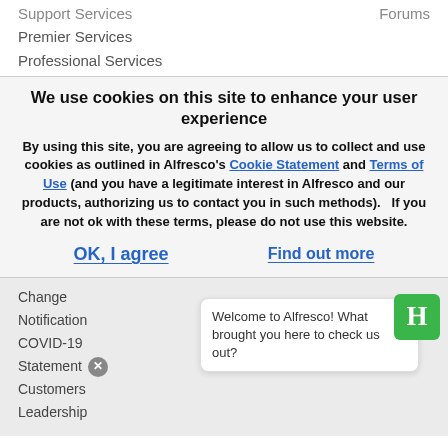Support Services
Forums
Premier Services
Professional Services
We use cookies on this site to enhance your user experience
By using this site, you are agreeing to allow us to collect and use cookies as outlined in Alfresco's Cookie Statement and Terms of Use (and you have a legitimate interest in Alfresco and our products, authorizing us to contact you in such methods).   If you are not ok with these terms, please do not use this website.
OK, I agree
Find out more
Change
Notification
COVID-19
Statement
Customers
Leadership
Welcome to Alfresco! What brought you here to check us out?